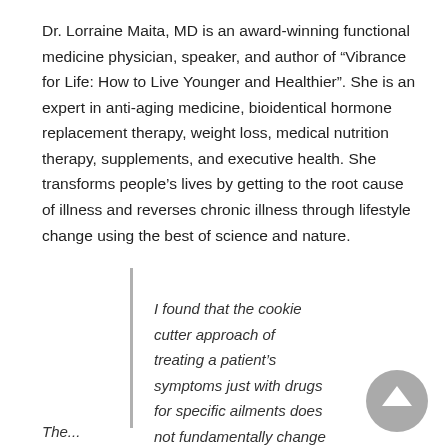Dr. Lorraine Maita, MD is an award-winning functional medicine physician, speaker, and author of “Vibrance for Life: How to Live Younger and Healthier”. She is an expert in anti-aging medicine, bioidentical hormone replacement therapy, weight loss, medical nutrition therapy, supplements, and executive health. She transforms people’s lives by getting to the root cause of illness and reverses chronic illness through lifestyle change using the best of science and nature.
I found that the cookie cutter approach of treating a patient’s symptoms just with drugs for specific ailments does not fundamentally change anything, it only makes them dependent on drugs...
The...